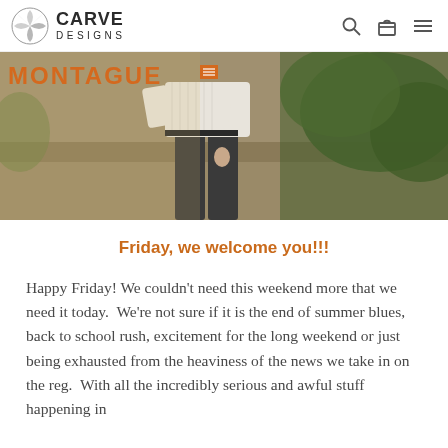CARVE DESIGNS
[Figure (photo): Photo of a person wearing a white cable-knit sweater and dark pants, standing outdoors on a path with green foliage in background. Text overlay reads MONTAGUE.]
Friday, we welcome you!!!
Happy Friday! We couldn't need this weekend more that we need it today.  We're not sure if it is the end of summer blues, back to school rush, excitement for the long weekend or just being exhausted from the heaviness of the news we take in on the reg.  With all the incredibly serious and awful stuff happening in